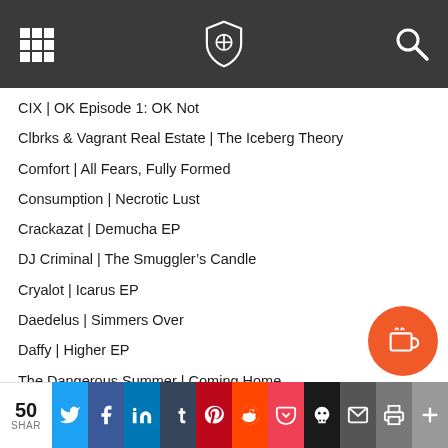Navigation header with grid menu, shield logo, and search icon
CIX | OK Episode 1: OK Not
Clbrks & Vagrant Real Estate | The Iceberg Theory
Comfort | All Fears, Fully Formed
Consumption | Necrotic Lust
Crackazat | Demucha EP
DJ Criminal | The Smuggler's Candle
Cryalot | Icarus EP
Daedelus | Simmers Over
Daffy | Higher EP
The Dangerous Summer | Coming Home
Meechy Darko | Gothic Luxury
David & the Citizens | For All Happy Endings Vinyl Reissue
Declaime & Madlib | In The Beginning (Vol. 2)
Romain de Ferron | Ravi
Dendrons | 5-3-8
Nelson Dialect, Sterneis | C.G. Jung
Madi Diaz | Same History, New Feelings
50 SHAR — Share buttons: Twitter, Facebook, LinkedIn, Tumblr, Pinterest, Reddit, Pocket, Skull, Email, Print, More